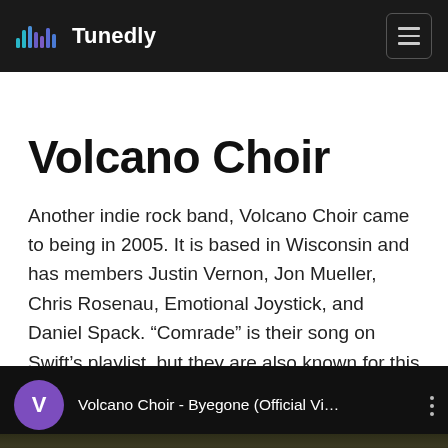Tunedly
Volcano Choir
Another indie rock band, Volcano Choir came to being in 2005. It is based in Wisconsin and has members Justin Vernon, Jon Mueller, Chris Rosenau, Emotional Joystick, and Daniel Spack. “Comrade” is their song on Swift’s playlist, but they are also known for this track:
[Figure (screenshot): YouTube video embed showing 'Volcano Choir - Byegone (Official Vi...' with purple V avatar icon and three-dot menu]